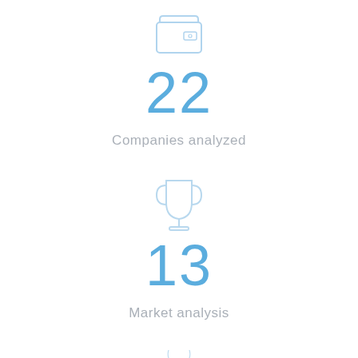[Figure (illustration): Light blue outline icon of a wallet/briefcase]
22
Companies analyzed
[Figure (illustration): Light blue outline icon of a trophy cup]
13
Market analysis
[Figure (illustration): Light blue partial circle icon at bottom, partially cropped]